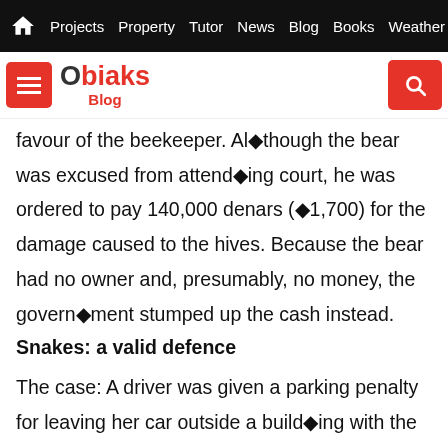Projects  Property  Tutor  News  Blog  Books  Weather
[Figure (logo): Obiaks Blog logo with hamburger menu button and search button]
favour of the beekeeper. Al◆though the bear was excused from attend◆ing court, he was ordered to pay 140,000 denars (◆1,700) for the damage caused to the hives. Because the bear had no owner and, presumably, no money, the govern◆ment stumped up the cash instead.
Snakes: a valid defence
The case: A driver was given a parking penalty for leaving her car outside a build◆ing with the